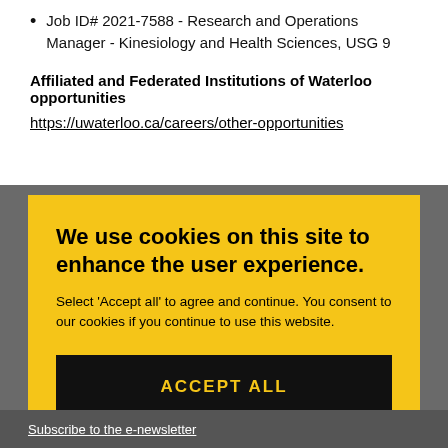Job ID# 2021-7588 - Research and Operations Manager - Kinesiology and Health Sciences, USG 9
Affiliated and Federated Institutions of Waterloo opportunities
https://uwaterloo.ca/careers/other-opportunities
We use cookies on this site to enhance the user experience.
Select 'Accept all' to agree and continue. You consent to our cookies if you continue to use this website.
ACCEPT ALL
Subscribe to the e-newsletter